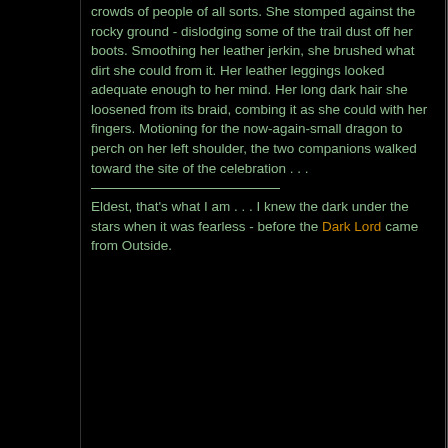crowds of people of all sorts. She stomped against the rocky ground - dislodging some of the trail dust off her boots. Smoothing her leather jerkin, she brushed what dirt she could from it. Her leather leggings looked adequate enough to her mind. Her long dark hair she loosened from its braid, combing it as she could with her fingers. Motioning for the now-again-small dragon to perch on her left shoulder, the two companions walked toward the site of the celebration . . .
Eldest, that's what I am . . . I knew the dark under the stars when it was fearless - before the Dark Lord came from Outside.
04-01-2020, 03:39 PM
#34
Pitchwife
Wight of the Old Forest
And out of Erebus many souls arose of the departed dead